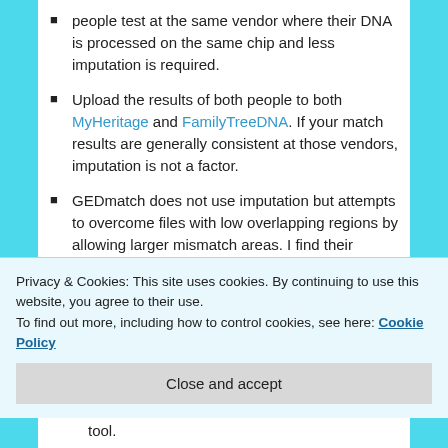people test at the same vendor where their DNA is processed on the same chip and less imputation is required.
Upload the results of both people to both MyHeritage and FamilyTreeDNA. If your match results are generally consistent at those vendors, imputation is not a factor.
GEDmatch does not use imputation but attempts to overcome files with low overlapping regions by allowing larger mismatch areas. I find their matches to be less accurate than at the various vendors.
Additionally, Ancestry has a few complicating factors.
Ancestry Issues
chromosome browser or triangulation tool.
Privacy & Cookies: This site uses cookies. By continuing to use this website, you agree to their use.
To find out more, including how to control cookies, see here: Cookie Policy